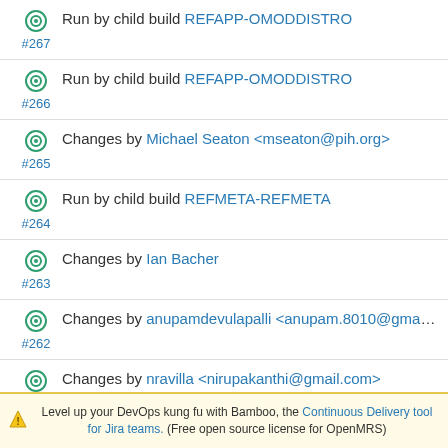#267 Run by child build REFAPP-OMODDISTRO
#266 Run by child build REFAPP-OMODDISTRO
#265 Changes by Michael Seaton <mseaton@pih.org>
#264 Run by child build REFMETA-REFMETA
#263 Changes by Ian Bacher
#262 Changes by anupamdevulapalli <anupam.8010@gmail.com>
#261 Changes by nravilla <nirupakanthi@gmail.com>
Level up your DevOps kung fu with Bamboo, the Continuous Delivery tool for Jira teams. (Free open source license for OpenMRS)